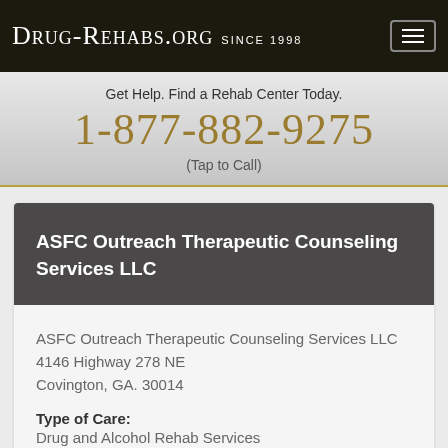Drug-Rehabs.org Since 1998
Get Help. Find a Rehab Center Today.
1-877-882-9275
(Tap to Call)
ASFC Outreach Therapeutic Counseling Services LLC
ASFC Outreach Therapeutic Counseling Services LLC
4146 Highway 278 NE
Covington, GA. 30014
Type of Care:
Drug and Alcohol Rehab Services